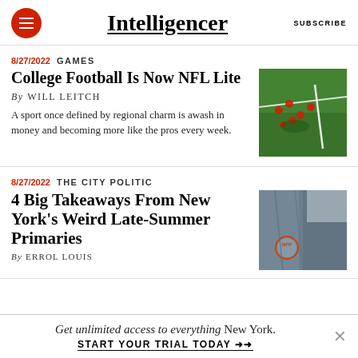Intelligencer  SUBSCRIBE
8/27/2022  GAMES
College Football Is Now NFL Lite
By WILL LEITCH
A sport once defined by regional charm is awash in money and becoming more like the pros every week.
[Figure (photo): Aerial view of football players on field during a game]
8/27/2022  THE CITY POLITIC
4 Big Takeaways From New York's Weird Late-Summer Primaries
By ERROL LOUIS
[Figure (photo): Close-up of a person wearing a jacket with an NFP button/badge]
Get unlimited access to everything New York.  START YOUR TRIAL TODAY →→